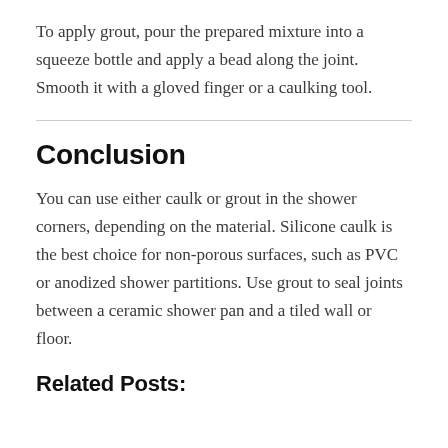To apply grout, pour the prepared mixture into a squeeze bottle and apply a bead along the joint. Smooth it with a gloved finger or a caulking tool.
Conclusion
You can use either caulk or grout in the shower corners, depending on the material. Silicone caulk is the best choice for non-porous surfaces, such as PVC or anodized shower partitions. Use grout to seal joints between a ceramic shower pan and a tiled wall or floor.
Related Posts: